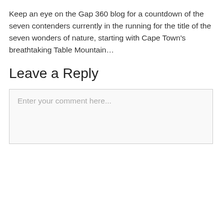Keep an eye on the Gap 360 blog for a countdown of the seven contenders currently in the running for the title of the seven wonders of nature, starting with Cape Town's breathtaking Table Mountain…
Leave a Reply
Enter your comment here...